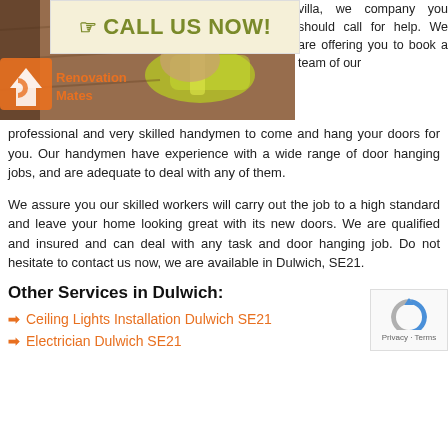[Figure (photo): Photo of a person using a power drill on wood, with a Renovation Mates company logo overlaid on the left side. A 'CALL US NOW!' banner with a hand/pointer icon is overlaid at the top center.]
villa, we company you should call for help. We are offering you to book a team of our professional and very skilled handymen to come and hang your doors for you. Our handymen have experience with a wide range of door hanging jobs, and are adequate to deal with any of them.
We assure you our skilled workers will carry out the job to a high standard and leave your home looking great with its new doors. We are qualified and insured and can deal with any task and door hanging job. Do not hesitate to contact us now, we are available in Dulwich, SE21.
Other Services in Dulwich:
Ceiling Lights Installation Dulwich SE21
Electrician Dulwich SE21